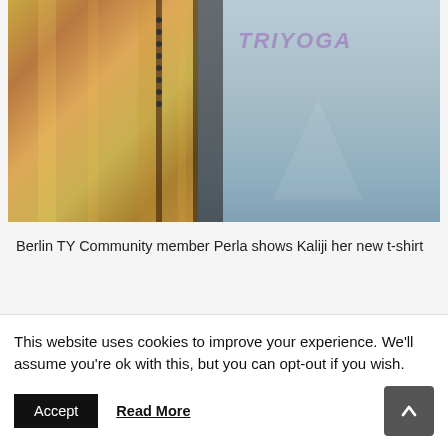[Figure (photo): Photo of two people side by side. On the left is a person wearing a shimmery golden/bronze traditional garment. On the right is a person wearing a light blue t-shirt with 'TRIYOGA' written on it.]
Berlin TY Community member Perla shows Kaliji her new t-shirt
This website uses cookies to improve your experience. We'll assume you're ok with this, but you can opt-out if you wish.